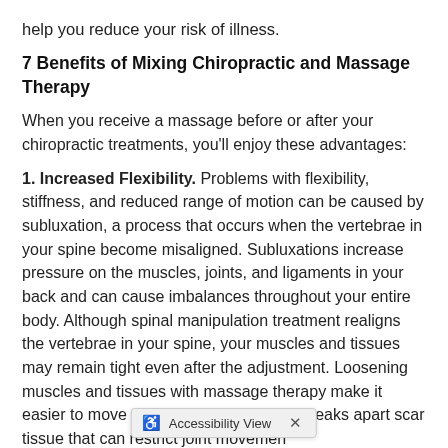help you reduce your risk of illness.
7 Benefits of Mixing Chiropractic and Massage Therapy
When you receive a massage before or after your chiropractic treatments, you'll enjoy these advantages:
1. Increased Flexibility. Problems with flexibility, stiffness, and reduced range of motion can be caused by subluxation, a process that occurs when the vertebrae in your spine become misaligned. Subluxations increase pressure on the muscles, joints, and ligaments in your back and can cause imbalances throughout your entire body. Although spinal manipulation treatment realigns the vertebrae in your spine, your muscles and tissues may remain tight even after the adjustment. Loosening muscles and tissues with massage therapy make it easier to move without stiffness. It also breaks apart scar tissue that can restrict joint movemen
Accessibility View ×